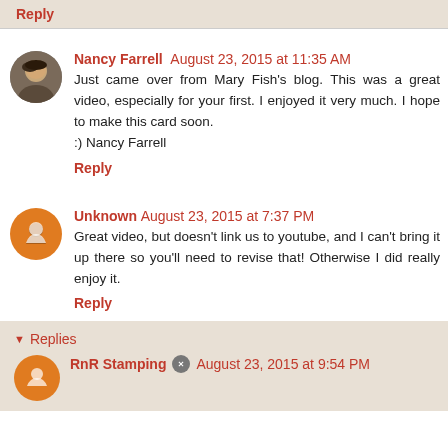Reply
Nancy Farrell  August 23, 2015 at 11:35 AM
Just came over from Mary Fish's blog. This was a great video, especially for your first. I enjoyed it very much. I hope to make this card soon.
:) Nancy Farrell
Reply
Unknown  August 23, 2015 at 7:37 PM
Great video, but doesn't link us to youtube, and I can't bring it up there so you'll need to revise that! Otherwise I did really enjoy it.
Reply
Replies
RnR Stamping  August 23, 2015 at 9:54 PM